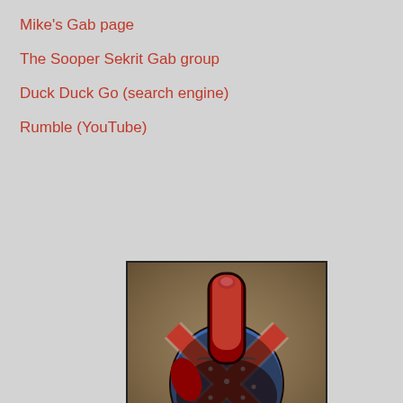Mike's Gab page
The Sooper Sekrit Gab group
Duck Duck Go (search engine)
Rumble (YouTube)
[Figure (illustration): A fist with the middle finger extended, decorated with a Confederate battle flag pattern, with the text 'BFYTW' in large white letters on a black bar at the bottom.]